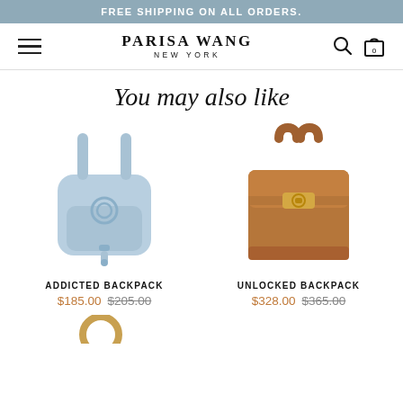FREE SHIPPING ON ALL ORDERS.
[Figure (logo): Parisa Wang New York logo with hamburger menu, search icon, and bag icon]
You may also like
[Figure (photo): Light blue Addicted Backpack with circular ring clasp and adjustable straps]
ADDICTED BACKPACK $185.00 $205.00
[Figure (photo): Tan brown Unlocked Backpack with gold turn-lock clasp and structured rectangular body]
UNLOCKED BACKPACK $328.00 $365.00